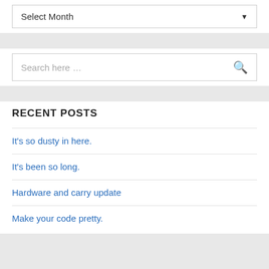Select Month
Search here …
RECENT POSTS
It's so dusty in here.
It's been so long.
Hardware and carry update
Make your code pretty.